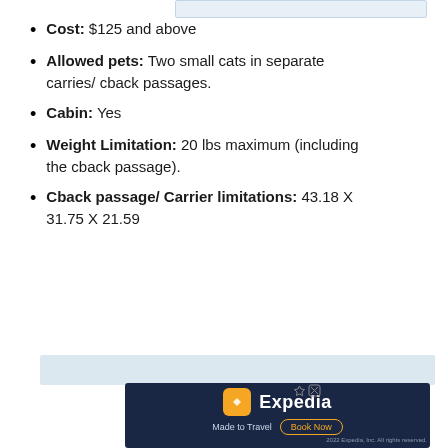Cost: $125 and above
Allowed pets: Two small cats in separate carries/ cback passages.
Cabin: Yes
Weight Limitation: 20 lbs maximum (including the cback passage).
Cback passage/ Carrier limitations: 43.18 X 31.75 X 21.59
[Figure (other): Expedia advertisement banner - Made to Travel, Book Now, 2022 Expedia Inc. All rights reserved.]